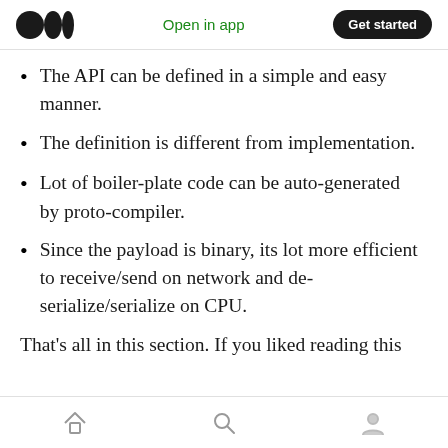Open in app | Get started
The API can be defined in a simple and easy manner.
The definition is different from implementation.
Lot of boiler-plate code can be auto-generated by proto-compiler.
Since the payload is binary, its lot more efficient to receive/send on network and de-serialize/serialize on CPU.
That's all in this section. If you liked reading this
home | search | profile